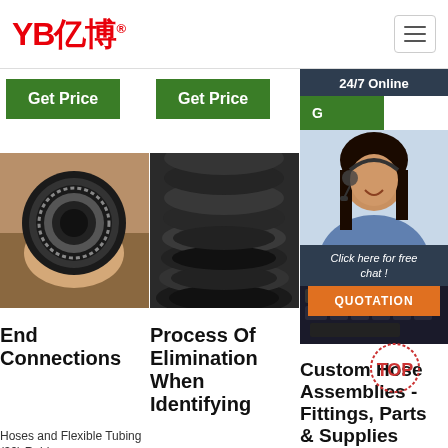[Figure (logo): YB亿博 logo in red with registered trademark symbol]
China.
Get Price
Get Price
24/7 Online
[Figure (photo): Close-up of rubber hose end connection held in hand]
[Figure (photo): Stack of black rubber hoses lined up]
[Figure (photo): Customer service representative with headset]
Click here for free chat !
QUOTATION
End Connections
Process Of Elimination When Identifying
Custom Hose Assemblies - Fittings, Parts & Supplies
Hoses and Flexible Tubing (39) Rubber